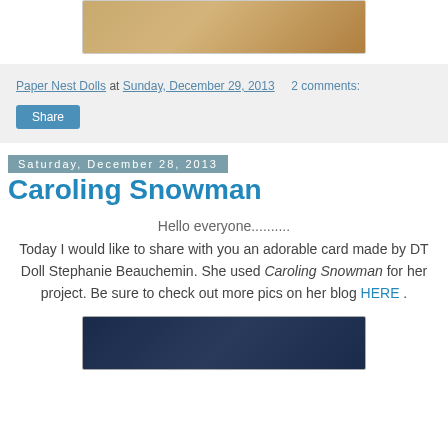[Figure (photo): Top portion of a craft card image showing decorative elements with warm brown/tan tones]
Paper Nest Dolls at Sunday, December 29, 2013   2 comments:
Share
Saturday, December 28, 2013
Caroling Snowman
Hello everyone..........
Today I would like to share with you an adorable card made by DT Doll Stephanie Beauchemin. She used Caroling Snowman for her project. Be sure to check out more pics on her blog HERE .
[Figure (photo): Bottom portion of a craft card showing a navy blue framed card with white and teal decorative elements]